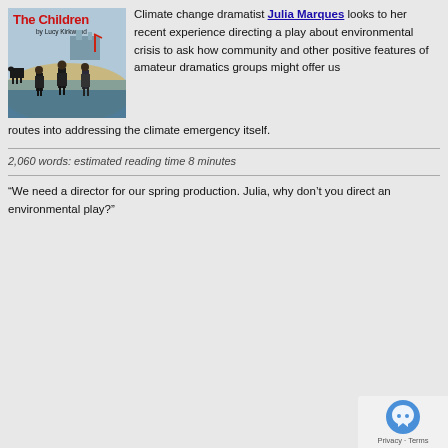[Figure (illustration): Book cover for 'The Children' by Lucy Kirkwood, showing three people standing in water near a coastal nuclear facility, with a cow visible on the left]
Climate change dramatist Julia Marques looks to her recent experience directing a play about environmental crisis to ask how community and other positive features of amateur dramatics groups might offer us routes into addressing the climate emergency itself.
2,060 words: estimated reading time 8 minutes
“We need a director for our spring production. Julia, why don’t you direct an environmental play?”